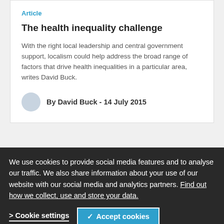Article
The health inequality challenge
With the right local leadership and central government support, localism could help address the broad range of factors that drive health inequalities in a particular area, writes David Buck.
By David Buck - 14 July 2015
Article
Leading the technology revolution
A look at the role of NHS England and the role technology in improving care.
24 June 2015
We use cookies to provide social media features and to analyse our traffic. We also share information about your use of our website with our social media and analytics partners. Find out how we collect, use and store your data.
Cookie settings
✓ Accept cookies